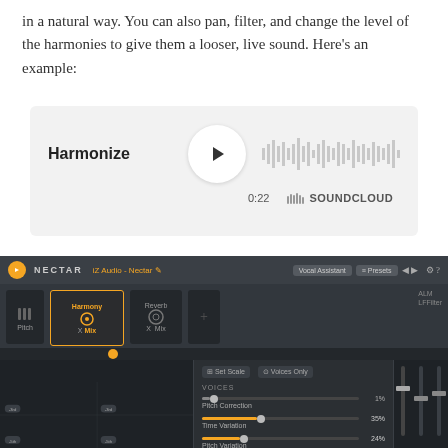in a natural way. You can also pan, filter, and change the level of the harmonies to give them a looser, live sound. Here's an example:
[Figure (screenshot): SoundCloud embedded audio player showing 'Harmonize' track, 0:22 duration, with play button and waveform visualization]
[Figure (screenshot): iZotope Nectar vocal plugin interface showing Harmony module active, with voices parameters including Pitch Correction at 1%, Time Variation at 35%, Pitch Variation at 24%]